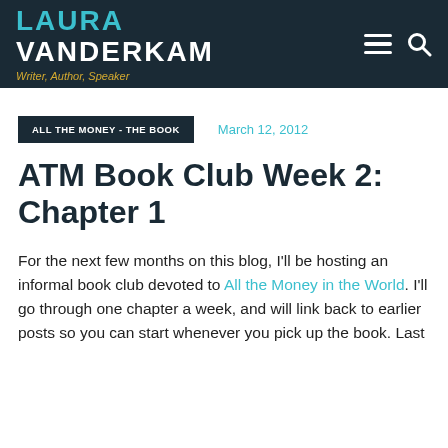LAURA VANDERKAM — Writer, Author, Speaker
ALL THE MONEY - THE BOOK
March 12, 2012
ATM Book Club Week 2: Chapter 1
For the next few months on this blog, I'll be hosting an informal book club devoted to All the Money in the World. I'll go through one chapter a week, and will link back to earlier posts so you can start whenever you pick up the book. Last